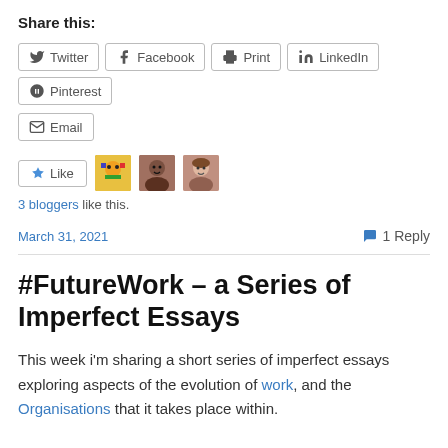Share this:
Twitter  Facebook  Print  LinkedIn  Pinterest  Email
[Figure (other): Like button with star icon and three blogger avatar photos]
3 bloggers like this.
March 31, 2021   1 Reply
#FutureWork – a Series of Imperfect Essays
This week i'm sharing a short series of imperfect essays exploring aspects of the evolution of work, and the Organisations that it takes place within.